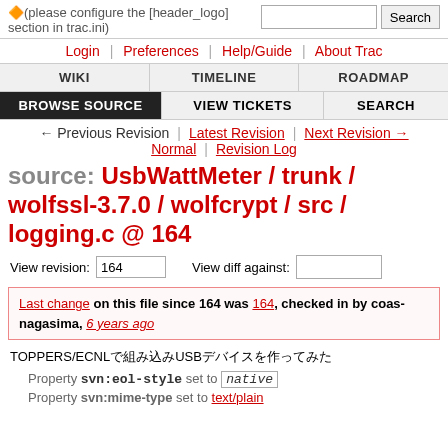(please configure the [header_logo] section in trac.ini)
Login | Preferences | Help/Guide | About Trac
WIKI | TIMELINE | ROADMAP
BROWSE SOURCE | VIEW TICKETS | SEARCH
← Previous Revision | Latest Revision | Next Revision → Normal | Revision Log
source: UsbWattMeter / trunk / wolfssl-3.7.0 / wolfcrypt / src / logging.c @ 164
View revision: 164   View diff against:
Last change on this file since 164 was 164, checked in by coas-nagasima, 6 years ago
TOPPERS/ECNLで組み込みUSBデバイスを作ってみた
Property svn:eol-style set to native
Property svn:mime-type set to text/plain